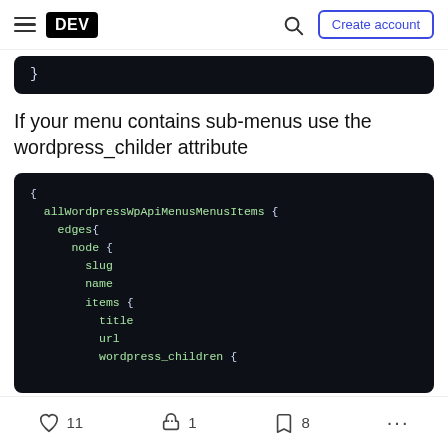DEV | Create account
[Figure (screenshot): Code block showing closing brace of a code snippet on dark background]
If your menu contains sub-menus use the wordpress_childer attribute
[Figure (screenshot): Code block on dark background showing GraphQL query with allWordpressWpApiMenusMenusItems, edges, node, slug, name, items with title, url, wordpress_children fields]
11 likes · 1 reaction · 8 bookmarks